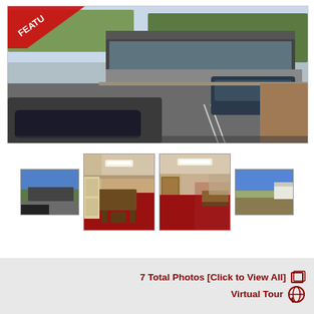[Figure (photo): Main featured photo of a commercial building with parking lot, cars visible, trees in background. Red 'FEATURED' banner ribbon in top-left corner.]
[Figure (photo): Thumbnail 1: Exterior shot of building with parking lot and clear blue sky.]
[Figure (photo): Thumbnail 2 (large): Interior room with dark red carpet, table, and chairs.]
[Figure (photo): Thumbnail 3 (large): Interior hallway or room with dark red carpet and furniture along the wall.]
[Figure (photo): Thumbnail 4: Exterior field/land with a building and blue sky.]
7 Total Photos [Click to View All]
Virtual Tour